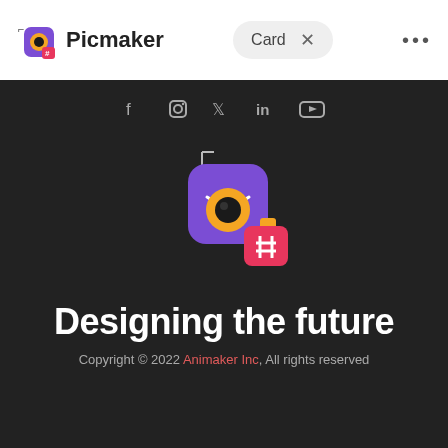Picmaker | Card
[Figure (logo): Picmaker app logo with purple rounded square, eye icon with orange iris, and pink hashtag badge, on dark background with social media icons (Facebook, Instagram, Twitter, LinkedIn, YouTube)]
Designing the future
Copyright © 2022 Animaker Inc, All rights reserved